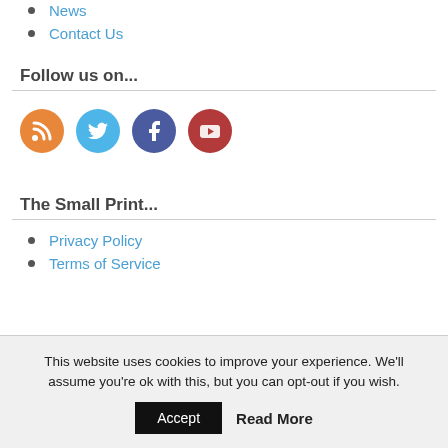News
Contact Us
Follow us on...
[Figure (infographic): Social media icons: RSS (orange), Twitter (blue), Facebook (dark blue), YouTube (dark red)]
The Small Print...
Privacy Policy
Terms of Service
This website uses cookies to improve your experience. We'll assume you're ok with this, but you can opt-out if you wish.